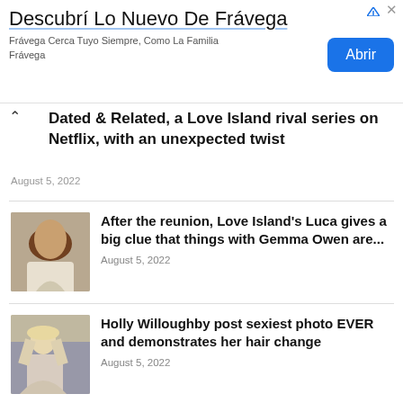[Figure (infographic): Advertisement banner for Frávega with title 'Descubrí Lo Nuevo De Frávega', subtitle 'Frávega Cerca Tuyo Siempre, Como La Familia Frávega', and a blue 'Abrir' button]
Dated & Related, a Love Island rival series on Netflix, with an unexpected twist
August 5, 2022
[Figure (photo): Thumbnail photo of a woman with long dark hair wearing a white top]
After the reunion, Love Island's Luca gives a big clue that things with Gemma Owen are...
August 5, 2022
[Figure (photo): Thumbnail photo of a blonde woman in a light-colored outfit outdoors]
Holly Willoughby post sexiest photo EVER and demonstrates her hair change
August 5, 2022
TECHNOLOGY